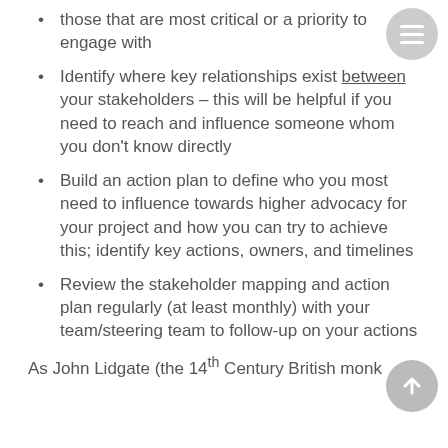those that are most critical or a priority to engage with
Identify where key relationships exist between your stakeholders – this will be helpful if you need to reach and influence someone whom you don't know directly
Build an action plan to define who you most need to influence towards higher advocacy for your project and how you can try to achieve this; identify key actions, owners, and timelines
Review the stakeholder mapping and action plan regularly (at least monthly) with your team/steering team to follow-up on your actions
As John Lidgate (the 14th Century British monk